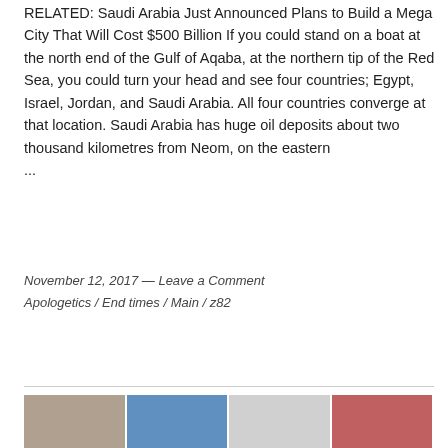RELATED: Saudi Arabia Just Announced Plans to Build a Mega City That Will Cost $500 Billion If you could stand on a boat at the north end of the Gulf of Aqaba, at the northern tip of the Red Sea, you could turn your head and see four countries; Egypt, Israel, Jordan, and Saudi Arabia. All four countries converge at that location. Saudi Arabia has huge oil deposits about two thousand kilometres from Neom, on the eastern ...
November 12, 2017 — Leave a Comment
Apologetics / End times / Main / z82
[Figure (photo): Partial image strip showing multiple photos at the bottom of the page]